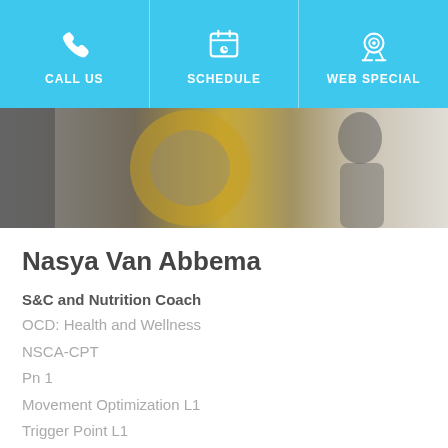CALL US | SCHEDULE | WEB SPECIAL
[Figure (photo): Partial hero image showing gym weights and a person in the background, muted and blurred]
Nasya Van Abbema
S&C and Nutrition Coach
OCD: Health and Wellness
NSCA-CPT
Pn 1
Movement Optimization L1
Trigger Point L1
Nasya is a reserve infantry soldier and a current student at Humber College where she is indulging her passion for nutrition, functional fitness, and prehab by studying to gain a Degree in Kinesiology. But Nasya doesn’t just focus on the analytical